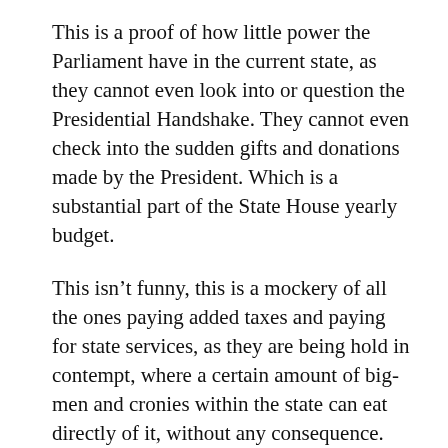This is a proof of how little power the Parliament have in the current state, as they cannot even look into or question the Presidential Handshake. They cannot even check into the sudden gifts and donations made by the President. Which is a substantial part of the State House yearly budget.
This isn't funny, this is a mockery of all the ones paying added taxes and paying for state services, as they are being hold in contempt, where a certain amount of big-men and cronies within the state can eat directly of it, without any consequence. Who knows what else the President misuse funds on, right now? Peace.